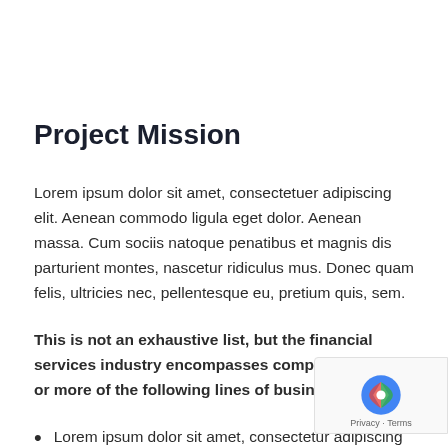Project Mission
Lorem ipsum dolor sit amet, consectetuer adipiscing elit. Aenean commodo ligula eget dolor. Aenean massa. Cum sociis natoque penatibus et magnis dis parturient montes, nascetur ridiculus mus. Donec quam felis, ultricies nec, pellentesque eu, pretium quis, sem.
This is not an exhaustive list, but the financial services industry encompasses companies in one or more of the following lines of business:
Lorem ipsum dolor sit amet, consectetur adipiscing